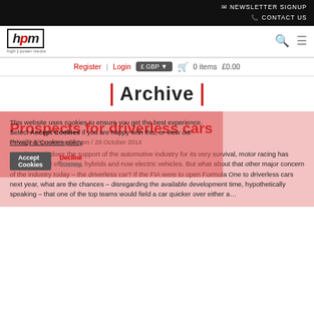✉ NEWSLETTER SIGNUP
📞 CONTACT US
[Figure (logo): High Power Media logo - hpm with 'high power media' subtitle]
Register | Login £ GBP ▼  🛒 0 items £0.00
Archive
Prospects for driverless cars
chris@highpowermedia.com / 28 October 2014
Needing as it does the support of the automotive industry for its very survival, motor racing has embraced fuel efficiency, hybrids and now electric vehicles. But what about that other major concern of the industry today – the driverless car? If the FIA were to open Formula One to driverless cars next year, what are the chances – disregarding the available development time, hypothetically speaking – that one of the top teams would field a car quicker over either a…
This website uses cookies to ensure you get the best experience. Select Accept Cookies if you are happy with this, or view our Privacy & Cookies policy.
Accept Cookies
Decline
Cookies